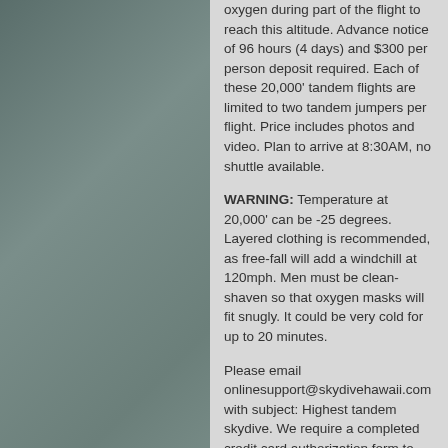oxygen during part of the flight to reach this altitude. Advance notice of 96 hours (4 days) and $300 per person deposit required. Each of these 20,000' tandem flights are limited to two tandem jumpers per flight. Price includes photos and video. Plan to arrive at 8:30AM, no shuttle available.
WARNING: Temperature at 20,000' can be -25 degrees. Layered clothing is recommended, as free-fall will add a windchill at 120mph. Men must be clean-shaven so that oxygen masks will fit snugly. It could be very cold for up to 20 minutes.
Please email onlinesupport@skydivehawaii.com with subject: Highest tandem skydive. We require a completed credit card authorization form to complete your deposit and HALO reservation. Confirmation will be returned by email, we also encourage calling us or stopping in before the day of your skydive to check on weather or to answer any questions that may arise.
Walk ins are welcome everyday at Skydive